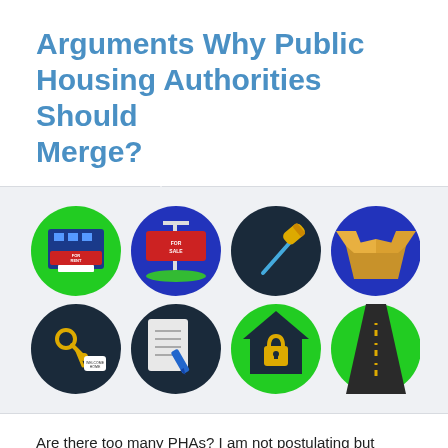Arguments Why Public Housing Authorities Should Merge?
[Figure (illustration): Eight circular icons arranged in two rows of four, each depicting a real estate or housing-related concept: for rent sign, for sale sign, paint roller, open box, keys with welcome home tag, document with pen, house with padlock, and road with dashes.]
Are there too many PHAs?  I am not postulating but simply asking a question.  There are around 3500